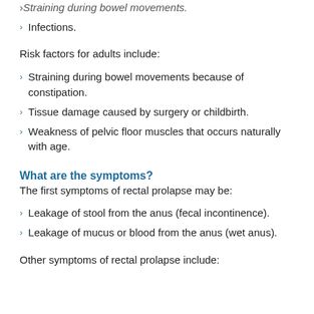Straining during bowel movements. (truncated at top)
Infections.
Risk factors for adults include:
Straining during bowel movements because of constipation.
Tissue damage caused by surgery or childbirth.
Weakness of pelvic floor muscles that occurs naturally with age.
What are the symptoms?
The first symptoms of rectal prolapse may be:
Leakage of stool from the anus (fecal incontinence).
Leakage of mucus or blood from the anus (wet anus).
Other symptoms of rectal prolapse include: